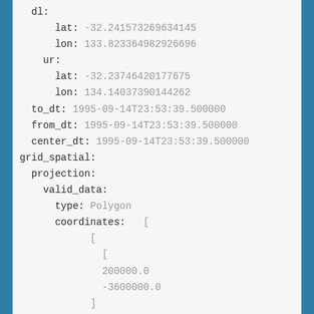dl:
    lat: -32.241573269634145
    lon: 133.823364982926696
  ur:
    lat: -32.23746420177675
    lon: 134.14037390144262
  to_dt: 1995-09-14T23:53:39.500000
  from_dt: 1995-09-14T23:53:39.500000
  center_dt: 1995-09-14T23:53:39.500000
grid_spatial:
  projection:
    valid_data:
      type: Polygon
      coordinates:   [
            [
              [
              200000.0
              -3600000.0
            ]
              [